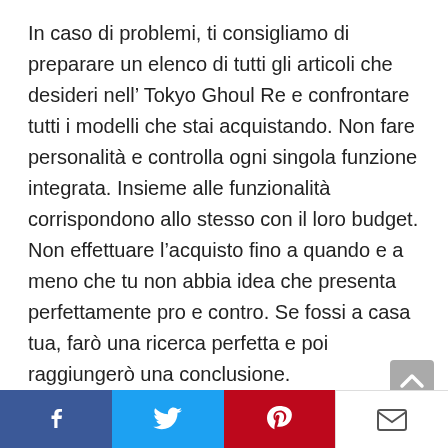In caso di problemi, ti consigliamo di preparare un elenco di tutti gli articoli che desideri nell' Tokyo Ghoul Re e confrontare tutti i modelli che stai acquistando. Non fare personalità e controlla ogni singola funzione integrata. Insieme alle funzionalità corrispondono allo stesso con il loro budget. Non effettuare l'acquisto fino a quando e a meno che tu non abbia idea che presenta perfettamente pro e contro. Se fossi a casa tua, farò una ricerca perfetta e poi raggiungerò una conclusione.
READ  30 migliori Una Perfetta Sconosciuta da acquistare secondo gli esperti
[Figure (infographic): Social media share bar with Facebook, Twitter, Pinterest, and email icons]